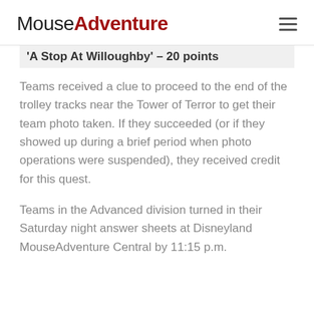MouseAdventure
'A Stop At Willoughby' – 20 points
Teams received a clue to proceed to the end of the trolley tracks near the Tower of Terror to get their team photo taken. If they succeeded (or if they showed up during a brief period when photo operations were suspended), they received credit for this quest.
Teams in the Advanced division turned in their Saturday night answer sheets at Disneyland MouseAdventure Central by 11:15 p.m.